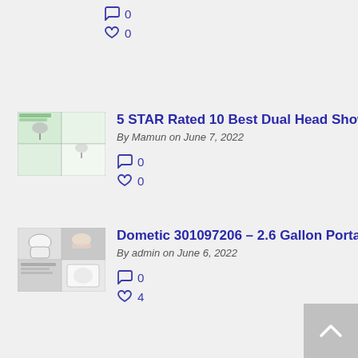0 (comments icon)
0 (likes icon)
[Figure (photo): Thumbnail image of dual head shower review article]
5 STAR Rated 10 Best Dual Head Shower R
By Mamun on June 7, 2022
0 (comments icon)
0 (likes icon)
[Figure (photo): Thumbnail image of Dometic portable toilet article]
Dometic 301097206 – 2.6 Gallon Portable T
By admin on June 6, 2022
0 (comments icon)
4 (likes icon)